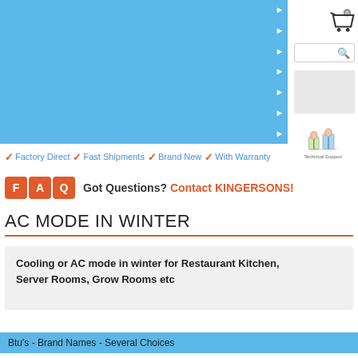[Figure (screenshot): Website header with blue panel, navigation arrows, cart icon with 0 badge, search bar, gray box placeholder, and technical support image on the right side]
✓ Factory Direct ✓ Fast Shipments ✓ Brand New ✓ With Warranty
FAQ Got Questions? Contact KINGERSONS!
AC MODE IN WINTER
Cooling or AC mode in winter for Restaurant Kitchen, Server Rooms, Grow Rooms etc
Btu's - Brand Names - Several Choices